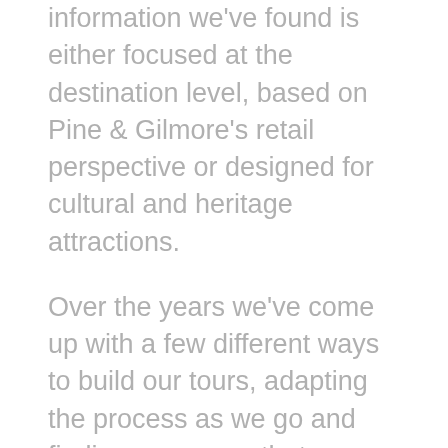information we've found is either focused at the destination level, based on Pine & Gilmore's retail perspective or designed for cultural and heritage attractions.
Over the years we've come up with a few different ways to build our tours, adapting the process as we go and finding new ways that ensure a great experience for the guests and staff. We wanted something that started with purpose to build experiences that are well aligned between our guests, our destinations and us as a company. We also needed something that helped ensure that the small details were taken care of.